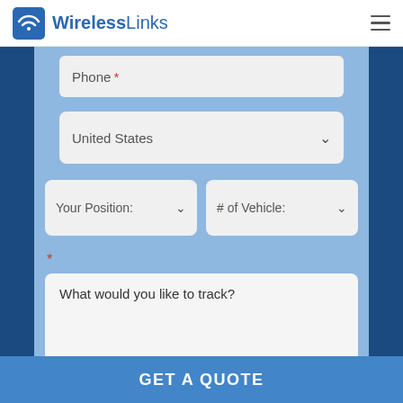[Figure (logo): WirelessLinks logo with blue WiFi icon and blue text]
[Figure (screenshot): Web form with Phone field, United States country dropdown, Your Position and # of Vehicle dropdowns, asterisk required marker, What would you like to track? textarea, and GET A QUOTE button]